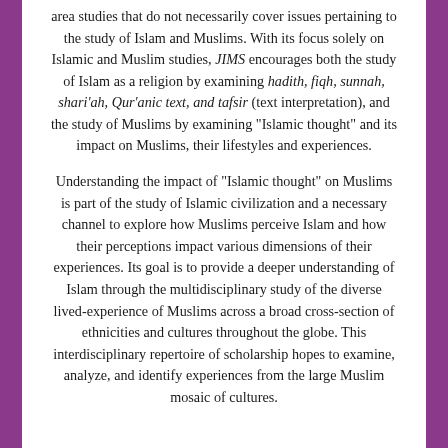area studies that do not necessarily cover issues pertaining to the study of Islam and Muslims. With its focus solely on Islamic and Muslim studies, JIMS encourages both the study of Islam as a religion by examining hadith, fiqh, sunnah, shari'ah, Qur'anic text, and tafsir (text interpretation), and the study of Muslims by examining "Islamic thought" and its impact on Muslims, their lifestyles and experiences.
Understanding the impact of "Islamic thought" on Muslims is part of the study of Islamic civilization and a necessary channel to explore how Muslims perceive Islam and how their perceptions impact various dimensions of their experiences. Its goal is to provide a deeper understanding of Islam through the multidisciplinary study of the diverse lived-experience of Muslims across a broad cross-section of ethnicities and cultures throughout the globe. This interdisciplinary repertoire of scholarship hopes to examine, analyze, and identify experiences from the large Muslim mosaic of cultures.